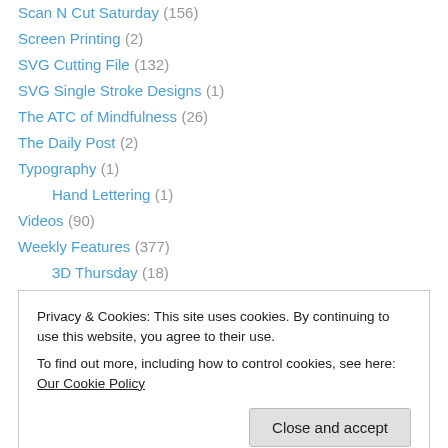Scan N Cut Saturday (156)
Screen Printing (2)
SVG Cutting File (132)
SVG Single Stroke Designs (1)
The ATC of Mindfulness (26)
The Daily Post (2)
Typography (1)
Hand Lettering (1)
Videos (90)
Weekly Features (377)
3D Thursday (18)
Artist Trading Card (6)
Fabric Friday (20)
Freebie Friday (5) [partially visible]
Privacy & Cookies: This site uses cookies. By continuing to use this website, you agree to their use. To find out more, including how to control cookies, see here: Our Cookie Policy
Sunday Stamping (3)